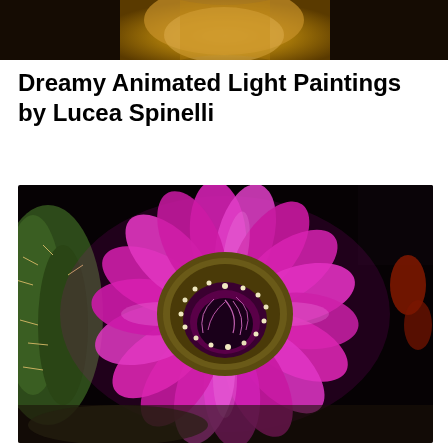[Figure (photo): Partial view of a golden statue or sculpture against a dark background, cropped at the top of the page]
Dreamy Animated Light Paintings by Lucea Spinelli
[Figure (photo): Close-up macro photograph of a vibrant pink/magenta cactus flower (echinopsis or similar) in full bloom with white stamens visible in the center, set against a dark background with green cactus visible at the left edge]